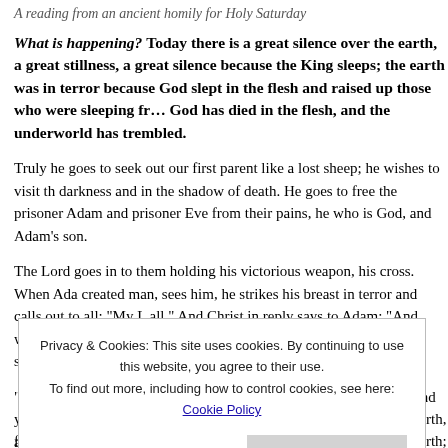A reading from an ancient homily for Holy Saturday
What is happening? Today there is a great silence over the earth, a great stillness, a great silence because the King sleeps; the earth was in terror because God slept in the flesh and raised up those who were sleeping from of old. God has died in the flesh, and the underworld has trembled.
Truly he goes to seek out our first parent like a lost sheep; he wishes to visit those who sit in darkness and in the shadow of death. He goes to free the prisoner Adam and his fellow prisoner Eve from their pains, he who is God, and Adam's son.
The Lord goes in to them holding his victorious weapon, his cross. When Adam, the first created man, sees him, he strikes his breast in terror and calls out to all: "My Lord be with you all." And Christ in reply says to Adam: "And with your spirit." And grasping his hand he raises him up, saying: "Awake, O sleeper, and arise from the dead, and Christ shall g
"I am your God, who for your sake became your son, who for you and your de speak and command with authority those in prison: Come forth, and those in c light, and those who sleep: Rise.
for you, I who am above the heavens came on earth and under the earth; for y
Privacy & Cookies: This site uses cookies. By continuing to use this website, you agree to their use. To find out more, including how to control cookies, see here: Cookie Policy
Close and accept